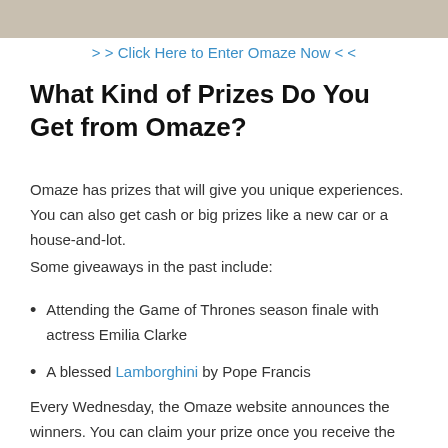[Figure (photo): Partial photo of a person, cropped at top of page]
> > Click Here to Enter Omaze Now < <
What Kind of Prizes Do You Get from Omaze?
Omaze has prizes that will give you unique experiences. You can also get cash or big prizes like a new car or a house-and-lot.
Some giveaways in the past include:
Attending the Game of Thrones season finale with actress Emilia Clarke
A blessed Lamborghini by Pope Francis
Every Wednesday, the Omaze website announces the winners. You can claim your prize once you receive the email.